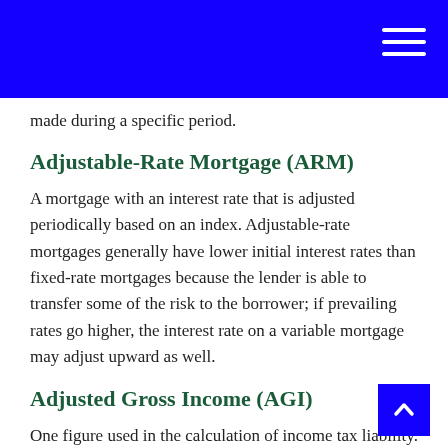made during a specific period.
Adjustable-Rate Mortgage (ARM)
A mortgage with an interest rate that is adjusted periodically based on an index. Adjustable-rate mortgages generally have lower initial interest rates than fixed-rate mortgages because the lender is able to transfer some of the risk to the borrower; if prevailing rates go higher, the interest rate on a variable mortgage may adjust upward as well.
Adjusted Gross Income (AGI)
One figure used in the calculation of income tax liability. AGI is determined by subtracting allowable adjustments from gross income.
Administrator
A probate-court-appointed person who is tasked with